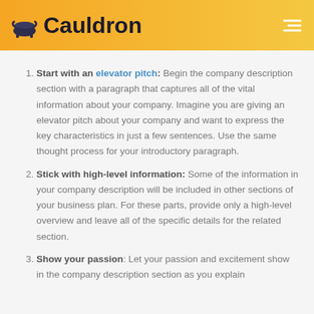Cauldron
Start with an elevator pitch: Begin the company description section with a paragraph that captures all of the vital information about your company. Imagine you are giving an elevator pitch about your company and want to express the key characteristics in just a few sentences. Use the same thought process for your introductory paragraph.
Stick with high-level information: Some of the information in your company description will be included in other sections of your business plan. For these parts, provide only a high-level overview and leave all of the specific details for the related section.
Show your passion: Let your passion and excitement show in the company description section as you explain